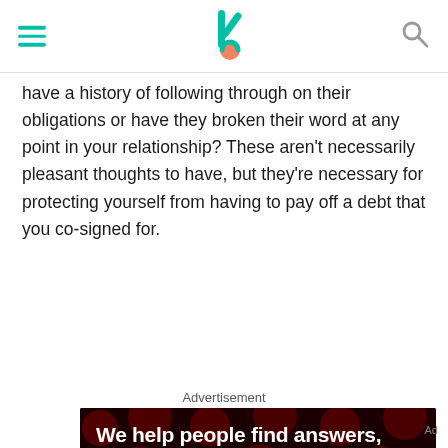[navigation bar with hamburger menu, logo, and search icon]
have a history of following through on their obligations or have they broken their word at any point in your relationship? These aren't necessarily pleasant thoughts to have, but they're necessary for protecting yourself from having to pay off a debt that you co-signed for.
Advertisement
[Figure (other): Advertisement banner with dark background showing red polka dots and white bold text reading 'We help people find answers, solve problems and get inspired']